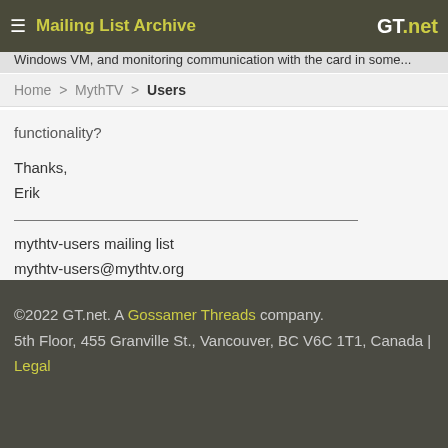Mailing List Archive — GT.net
...system with an IOMMU, attachi... Windows VM, and monitoring communication with the card in some...
Home > MythTV > Users
functionality?
Thanks,
Erik
mythtv-users mailing list
mythtv-users@mythtv.org
http://www.mythtv.org/mailman/listinfo/mythtv-users
©2022 GT.net. A Gossamer Threads company.
5th Floor, 455 Granville St., Vancouver, BC V6C 1T1, Canada | Legal